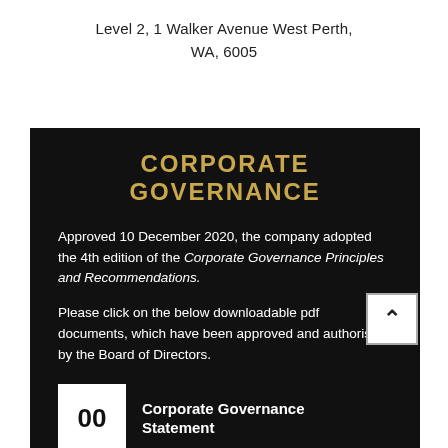Level 2, 1 Walker Avenue West Perth, WA, 6005
CORPORATE GOVERNANCE
Approved 10 December 2020, the company adopted the 4th edition of the Corporate Governance Principles and Recommendations.
Please click on the below downloadable pdf documents, which have been approved and authorised by the Board of Directors.
Corporate Governance Statement